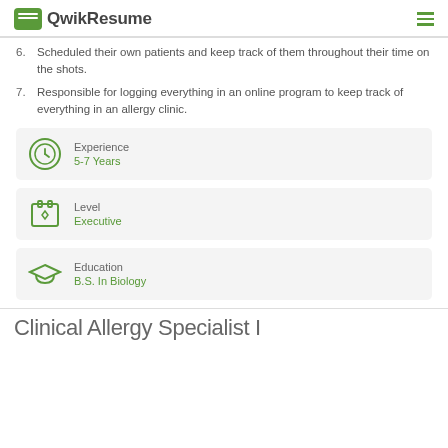QwikResume
6. Scheduled their own patients and keep track of them throughout their time on the shots.
7. Responsible for logging everything in an online program to keep track of everything in an allergy clinic.
Experience
5-7 Years
Level
Executive
Education
B.S. In Biology
Clinical Allergy Specialist I